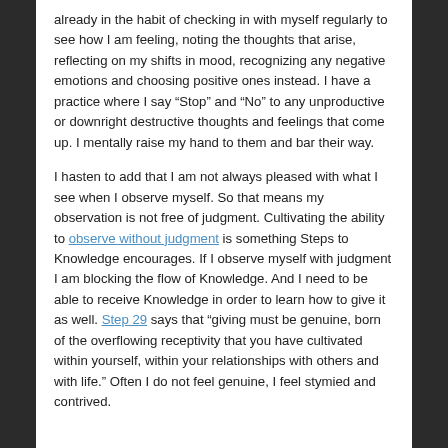already in the habit of checking in with myself regularly to see how I am feeling, noting the thoughts that arise, reflecting on my shifts in mood, recognizing any negative emotions and choosing positive ones instead. I have a practice where I say “Stop” and “No” to any unproductive or downright destructive thoughts and feelings that come up. I mentally raise my hand to them and bar their way.
I hasten to add that I am not always pleased with what I see when I observe myself. So that means my observation is not free of judgment. Cultivating the ability to observe without judgment is something Steps to Knowledge encourages. If I observe myself with judgment I am blocking the flow of Knowledge. And I need to be able to receive Knowledge in order to learn how to give it as well. Step 29 says that “giving must be genuine, born of the overflowing receptivity that you have cultivated within yourself, within your relationships with others and with life.” Often I do not feel genuine, I feel stymied and contrived.